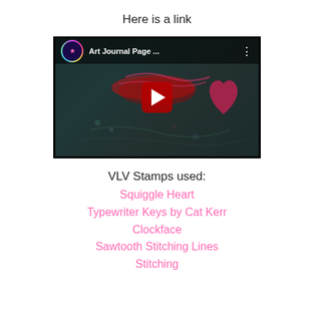Here is a link
[Figure (screenshot): YouTube video thumbnail showing 'Art Journal Page ...' with a channel logo, dark mixed-media art background with hearts, and a red play button in the center.]
VLV Stamps used:
Squiggle Heart
Typewriter Keys by Cat Kerr
Clockface
Sawtooth Stitching Lines
Stitching